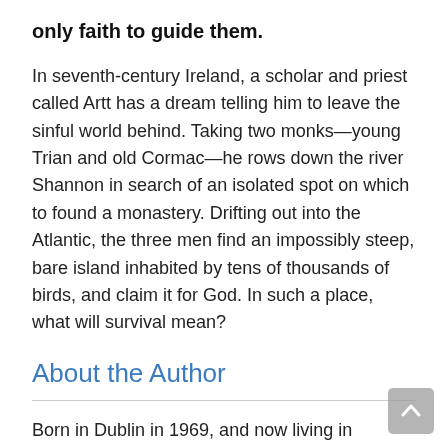only faith to guide them.
In seventh-century Ireland, a scholar and priest called Artt has a dream telling him to leave the sinful world behind. Taking two monks—young Trian and old Cormac—he rows down the river Shannon in search of an isolated spot on which to found a monastery. Drifting out into the Atlantic, the three men find an impossibly steep, bare island inhabited by tens of thousands of birds, and claim it for God. In such a place, what will survival mean?
About the Author
Born in Dublin in 1969, and now living in Canada, Emma Donoghue writes fiction (novels and short stories, contemporary and historical, most recently